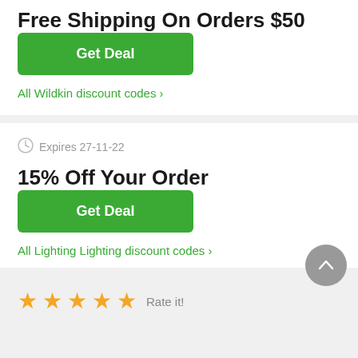Free Shipping On Orders $50
Get Deal
All Wildkin discount codes ›
Expires 27-11-22
15% Off Your Order
Get Deal
All Lighting Lighting discount codes ›
Rate it!